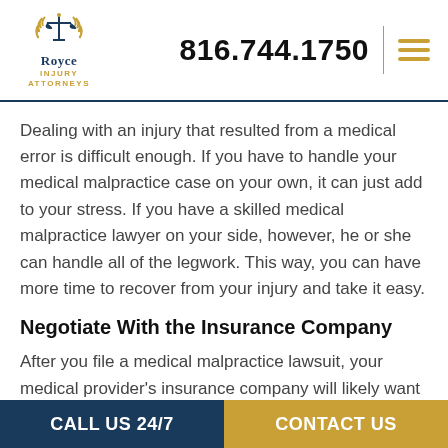Royce Injury Attorneys | 816.744.1750
Dealing with an injury that resulted from a medical error is difficult enough. If you have to handle your medical malpractice case on your own, it can just add to your stress. If you have a skilled medical malpractice lawyer on your side, however, he or she can handle all of the legwork. This way, you can have more time to recover from your injury and take it easy.
Negotiate With the Insurance Company
After you file a medical malpractice lawsuit, your medical provider's insurance company will likely want to speak to
CALL US 24/7 | CONTACT US